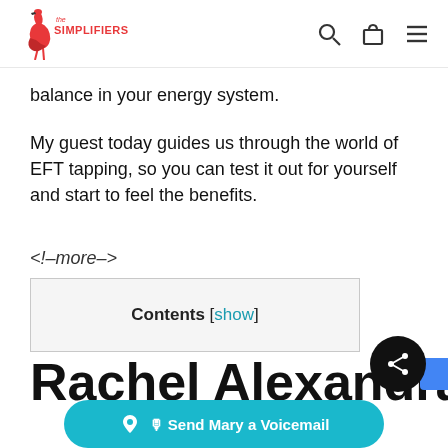[Figure (logo): The Simplifiers logo — red flamingo figure with 'The Simplifiers' text in red and teal]
balance in your energy system.
My guest today guides us through the world of EFT tapping, so you can test it out for yourself and start to feel the benefits.
<!--more-->
Contents [show]
Rachel Alexandra